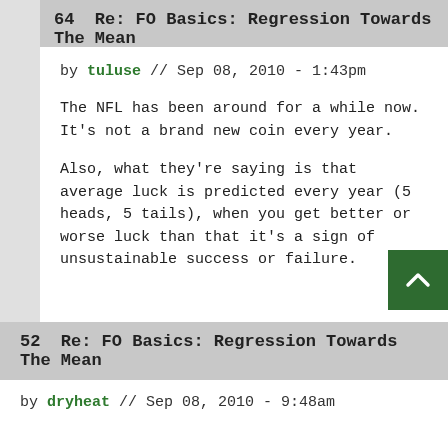64  Re: FO Basics: Regression Towards The Mean
by tuluse // Sep 08, 2010 - 1:43pm
The NFL has been around for a while now. It's not a brand new coin every year.
Also, what they're saying is that average luck is predicted every year (5 heads, 5 tails), when you get better or worse luck than that it's a sign of unsustainable success or failure.
52  Re: FO Basics: Regression Towards The Mean
by dryheat // Sep 08, 2010 - 9:48am